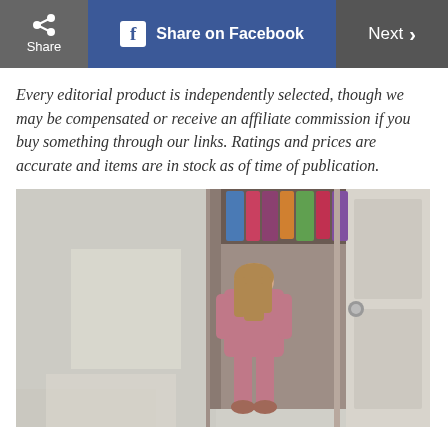Share | Share on Facebook | Next >
Every editorial product is independently selected, though we may be compensated or receive an affiliate commission if you buy something through our links. Ratings and prices are accurate and items are in stock as of time of publication.
[Figure (photo): A young child in pink pyjamas standing at the open door of a wardrobe full of colourful hanging clothes, viewed from behind, with light streaming across a light-coloured room floor.]